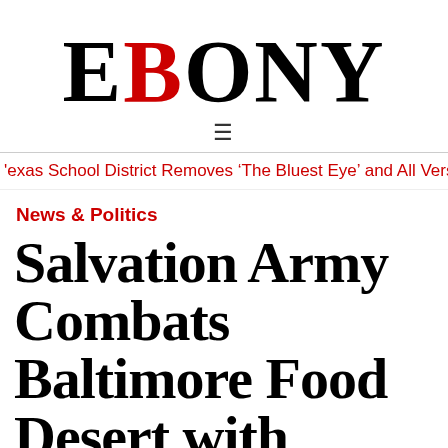EBONY
≡
Texas School District Removes ‘The Bluest Eye’ and All Version
News & Politics
Salvation Army Combats Baltimore Food Desert with Nonprofit Grocery